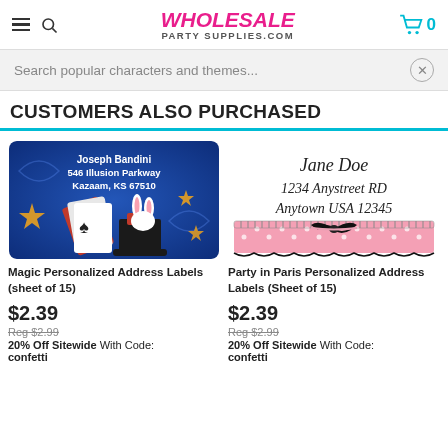WHOLESALE PARTY SUPPLIES.COM
Search popular characters and themes...
CUSTOMERS ALSO PURCHASED
[Figure (illustration): Magic Personalized Address Label product image showing blue background with playing cards, magician hat with rabbit, stars and text: Joseph Bandini, 546 Illusion Parkway, Kazaam, KS 67510]
Magic Personalized Address Labels (sheet of 15)
$2.39
Reg $2.99
20% Off Sitewide With Code: confetti
[Figure (illustration): Party in Paris Personalized Address Labels product image showing cursive text: Jane Doe, 1234 Anystreet RD, Anytown USA 12345, with pink polka dot and black bow design]
Party in Paris Personalized Address Labels (Sheet of 15)
$2.39
Reg $2.99
20% Off Sitewide With Code: confetti